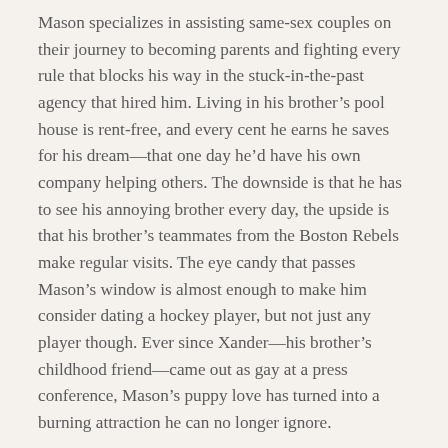Mason specializes in assisting same-sex couples on their journey to becoming parents and fighting every rule that blocks his way in the stuck-in-the-past agency that hired him. Living in his brother’s pool house is rent-free, and every cent he earns he saves for his dream—that one day he’d have his own company helping others. The downside is that he has to see his annoying brother every day, the upside is that his brother’s teammates from the Boston Rebels make regular visits. The eye candy that passes Mason’s window is almost enough to make him consider dating a hockey player, but not just any player though. Ever since Xander—his brother’s childhood friend—came out as gay at a press conference, Mason’s puppy love has turned into a burning attraction he can no longer ignore.